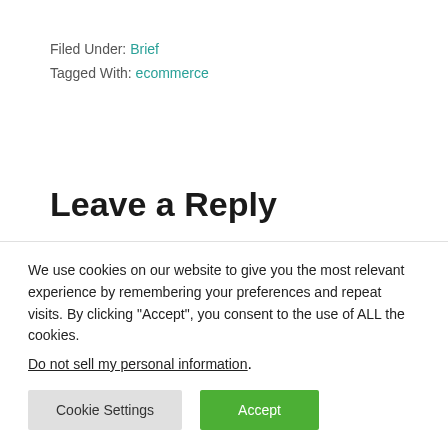Filed Under: Brief
Tagged With: ecommerce
Leave a Reply
Your email address will not be published. Required fields
We use cookies on our website to give you the most relevant experience by remembering your preferences and repeat visits. By clicking “Accept”, you consent to the use of ALL the cookies.
Do not sell my personal information.